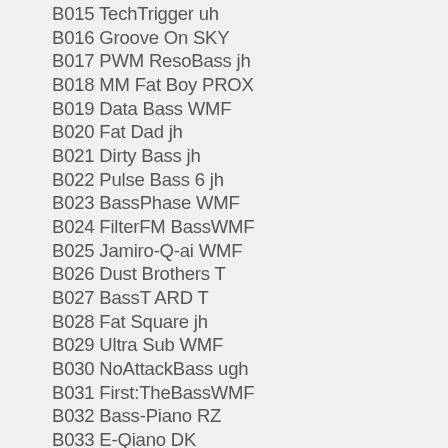B015 TechTrigger uh
B016 Groove On SKY
B017 PWM ResoBass jh
B018 MM Fat Boy PROX
B019 Data Bass WMF
B020 Fat Dad jh
B021 Dirty Bass jh
B022 Pulse Bass 6 jh
B023 BassPhase WMF
B024 FilterFM BassWMF
B025 Jamiro-Q-ai WMF
B026 Dust Brothers T
B027 BassT ARD T
B028 Fat Square jh
B029 Ultra Sub WMF
B030 NoAttackBass ugh
B031 First:TheBassWMF
B032 Bass-Piano RZ
B033 E-Qiano DK